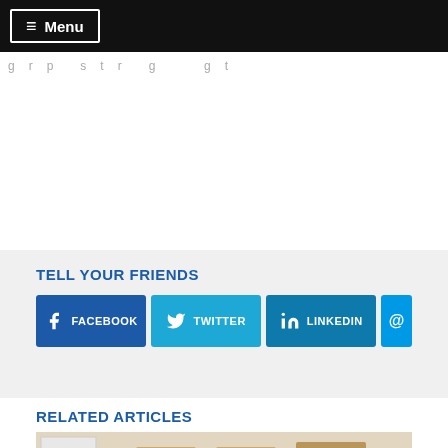≡ Menu
g r p   s t r g   g t
TELL YOUR FRIENDS
FACEBOOK   TWITTER   LINKEDIN   @
RELATED ARTICLES
[Figure (photo): A conductor directing an orchestra of students in a rehearsal room, arms outstretched, with rows of musicians playing instruments visible behind him]